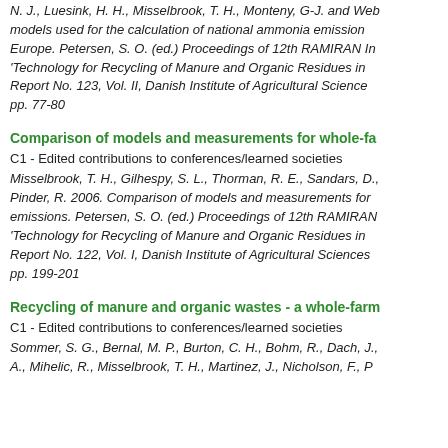N. J., Luesink, H. H., Misselbrook, T. H., Monteny, G-J. and Web... models used for the calculation of national ammonia emission... Europe. Petersen, S. O. (ed.) Proceedings of 12th RAMIRAN In... 'Technology for Recycling of Manure and Organic Residues in... Report No. 123, Vol. II, Danish Institute of Agricultural Science... pp. 77-80
Comparison of models and measurements for whole-fa...
C1 - Edited contributions to conferences/learned societies
Misselbrook, T. H., Gilhespy, S. L., Thorman, R. E., Sandars, D.,... Pinder, R. 2006. Comparison of models and measurements for... emissions. Petersen, S. O. (ed.) Proceedings of 12th RAMIRAN... 'Technology for Recycling of Manure and Organic Residues in... Report No. 122, Vol. I, Danish Institute of Agricultural Sciences... pp. 199-201
Recycling of manure and organic wastes - a whole-farm...
C1 - Edited contributions to conferences/learned societies
Sommer, S. G., Bernal, M. P., Burton, C. H., Bohm, R., Dach, J.,... A., Mihelic, R., Misselbrook, T. H., Martinez, J., Nicholson, F., P...